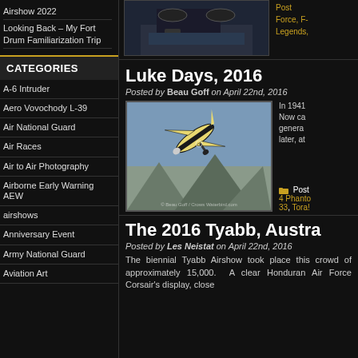Airshow 2022
Looking Back – My Fort Drum Familiarization Trip
CATEGORIES
A-6 Intruder
Aero Vovochody L-39
Air National Guard
Air Races
Air to Air Photography
Airborne Early Warning AEW
airshows
Anniversary Event
Army National Guard
Aviation Art
[Figure (photo): Aircraft on tarmac, top section visible]
Post Force, F- Legends,
Luke Days, 2016
Posted by Beau Goff on April 22nd, 2016
[Figure (photo): Yellow and black vintage aircraft banking in flight over mountains]
In 1941 Now ca genera later, at
Post 4 Phanto 33, Tora!
The 2016 Tyabb, Austra
Posted by Les Neistat on April 22nd, 2016
The biennial Tyabb Airshow took place this crowd of approximately 15,000. A clear Honduran Air Force Corsair's display, close